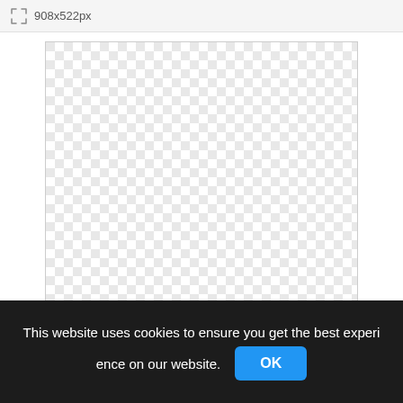[Figure (screenshot): Toolbar showing image dimensions: a resize/fullscreen icon followed by the text '908x522px' on a light grey background.]
[Figure (other): Large checkerboard pattern area representing a transparent image canvas, with alternating light grey and white squares, bordered by a thin grey border.]
This website uses cookies to ensure you get the best experience on our website.
OK